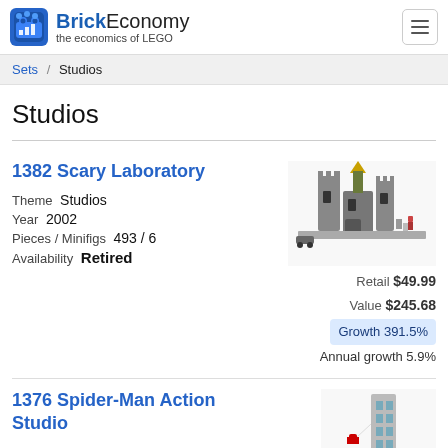BrickEconomy – the economics of LEGO
Sets / Studios
Studios
1382 Scary Laboratory – Theme: Studios, Year: 2002, Pieces / Minifigs: 493 / 6, Availability: Retired, Retail: $49.99, Value: $245.68, Growth: 391.5%, Annual growth: 5.9%
1376 Spider-Man Action Studio